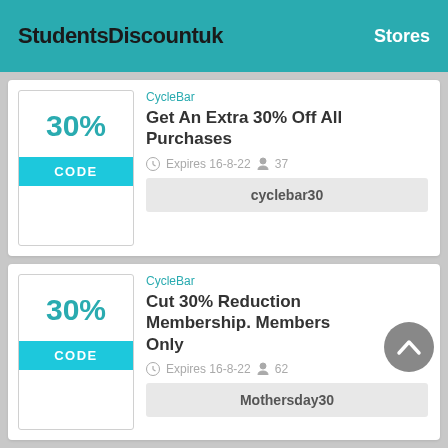StudentsDiscountuk   Stores
CycleBar
Get An Extra 30% Off All Purchases
Expires 16-8-22   37
cyclebar30
CycleBar
Cut 30% Reduction Membership. Members Only
Expires 16-8-22   62
Mothersday30